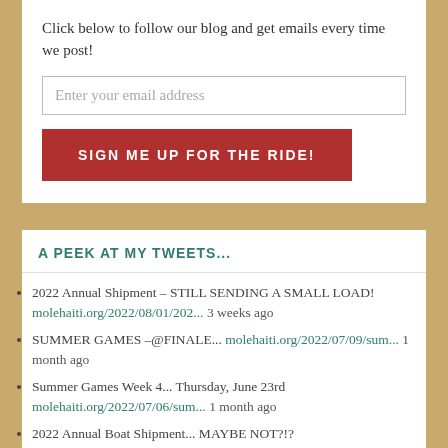Click below to follow our blog and get emails every time we post!
Enter your email address
SIGN ME UP FOR THE RIDE!
A PEEK AT MY TWEETS...
2022 Annual Shipment – STILL SENDING A SMALL LOAD! molehaiti.org/2022/08/01/202... 3 weeks ago
SUMMER GAMES –@FINALE... molehaiti.org/2022/07/09/sum... 1 month ago
Summer Games Week 4... Thursday, June 23rd molehaiti.org/2022/07/06/sum... 1 month ago
2022 Annual Boat Shipment... MAYBE NOT?!? molehaiti.org/2022/06/21/202... 2 months ago
Summer Games Week 3... molehaiti.org/2022/06/18/sum... 2 months ago